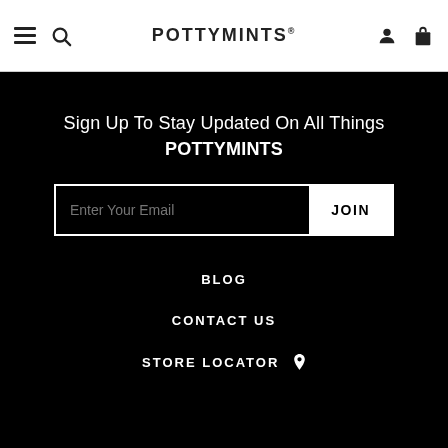POTTYMINTS®
Sign Up To Stay Updated On All Things POTTYMINTS
Enter Your Email | JOIN
BLOG
CONTACT US
STORE LOCATOR